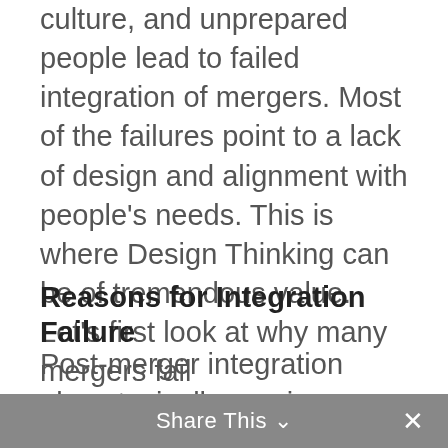culture, and unprepared people lead to failed integration of mergers. Most of the failures point to a lack of design and alignment with people's needs. This is where Design Thinking can be of tremendous value. Let's first look at why many mergers fail
Reasons for Integration Failure
Post-merger integration plans typically require creating lengthy checklists, project plans, activities, and tasks basically focused on estimation upfront. Unfortunately, this is where integration goes wrong. The most common reasons for failure are:
Share This ∨  ×